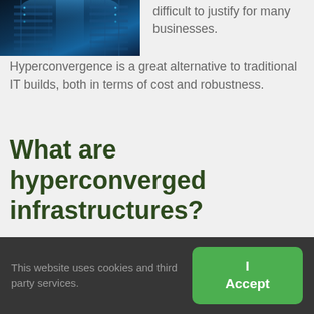[Figure (photo): Dark blue server room / data center corridor photo]
difficult to justify for many businesses. Hyperconvergence is a great alternative to traditional IT builds, both in terms of cost and robustness.
What are hyperconverged infrastructures?
In a traditional IT environment, networking, server, and storage hardware need to be purchased separately and configured to work together as a cohesive system. Later, manufacturers started offering converged
This website uses cookies and third party services.
I Accept